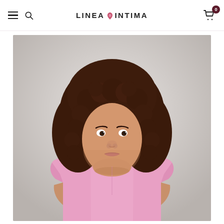LINEA INTIMA — navigation header with hamburger menu, search icon, logo, and cart icon with badge 0
[Figure (photo): A young woman with voluminous curly brown hair wearing a pink cropped crewneck sweatshirt/t-shirt, photographed from the waist up against a light grey background. The clothing is from Linea Intima fashion brand.]